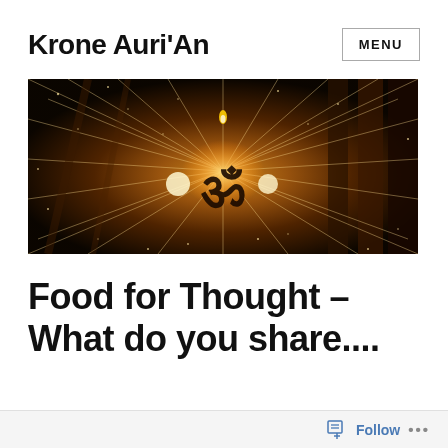Krone Auri'An
MENU
[Figure (photo): A spiritual/mystical banner image featuring a glowing Om (ॐ) symbol surrounded by radiating golden light beams and sparkles, set against a dark architectural background with warm amber tones.]
Food for Thought – What do you share....
Follow ...